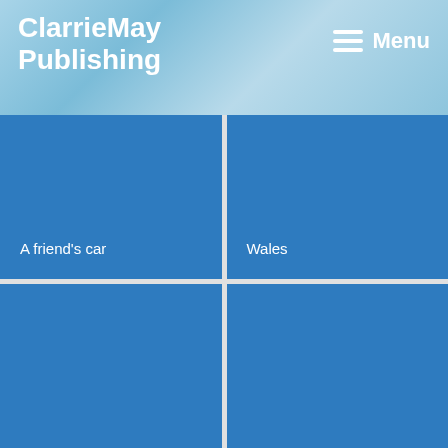ClarrieMay Publishing
Menu
[Figure (illustration): Blue tile grid cell labeled 'A friend's car']
[Figure (illustration): Blue tile grid cell labeled 'Wales']
[Figure (illustration): Blue tile grid cell (bottom left, no label visible)]
[Figure (illustration): Blue tile grid cell (bottom right, no label visible)]